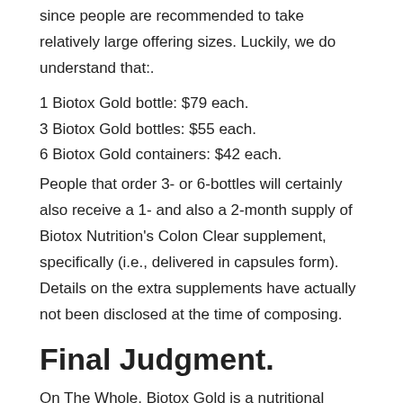since people are recommended to take relatively large offering sizes. Luckily, we do understand that:.
1 Biotox Gold bottle: $79 each.
3 Biotox Gold bottles: $55 each.
6 Biotox Gold containers: $42 each.
People that order 3- or 6-bottles will certainly also receive a 1- and also a 2-month supply of Biotox Nutrition’s Colon Clear supplement, specifically (i.e., delivered in capsules form). Details on the extra supplements have actually not been disclosed at the time of composing.
Final Judgment.
On The Whole, Biotox Gold is a nutritional supplement that has actually been developed to release the body of toxic substances that protect against one from experiencing weight as well as weight loss. The company responsible for this solution, Biotox